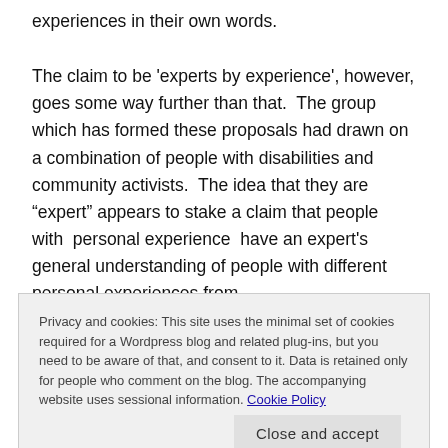experiences in their own words.
The claim to be ‘experts by experience’, however, goes some way further than that.  The group  which has formed these proposals had drawn on a combination of people with disabilities and community activists.  The idea that they are “expert” appears to stake a claim that people with  personal experience  have an expert’s general understanding of people with different personal experiences from
Privacy and cookies: This site uses the minimal set of cookies required for a Wordpress blog and related plug-ins, but you need to be aware of that, and consent to it. Data is retained only for people who comment on the blog. The accompanying website uses sessional information. Cookie Policy
largely of working age. Most unemployment is